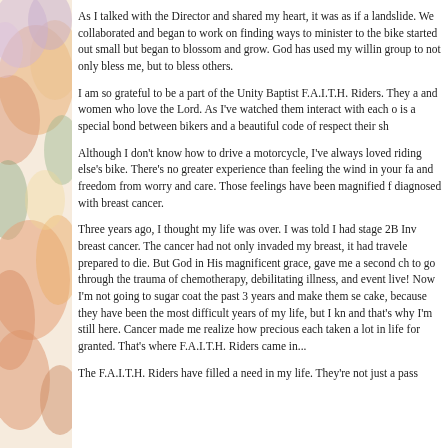As I talked with the Director and shared my heart, it was as if a landslide. We collaborated and began to work on finding ways to minister to the bike group to not only bless me, but to bless others.
I am so grateful to be a part of the Unity Baptist F.A.I.T.H. Riders. They are men and women who love the Lord. As I've watched them interact with each other, there is a special bond between bikers and a beautiful code of respect their share.
Although I don't know how to drive a motorcycle, I've always loved riding on someone else's bike. There's no greater experience than feeling the wind in your face and freedom from worry and care. Those feelings have been magnified for me since I was diagnosed with breast cancer.
Three years ago, I thought my life was over. I was told I had stage 2B Invasive breast cancer. The cancer had not only invaded my breast, it had traveled. I prepared to die. But God in His magnificent grace, gave me a second chance. I had to go through the trauma of chemotherapy, debilitating illness, and eventually I did live! Now I'm not going to sugar coat the past 3 years and make them seem like cake, because they have been the most difficult years of my life, but I know God and that's why I'm still here. Cancer made me realize how precious each day is. I've taken a lot in life for granted. That's where F.A.I.T.H. Riders came in...
The F.A.I.T.H. Riders have filled a need in my life. They're not just a pass...